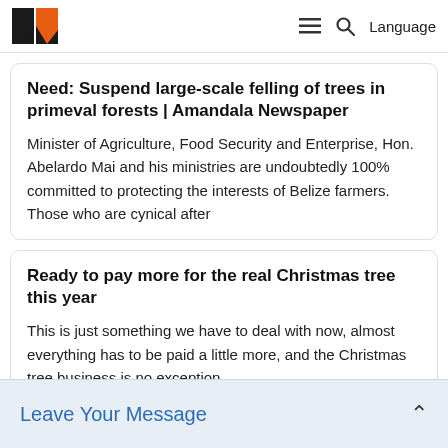Need: Suspend large-scale felling of trees in primeval forests | Amandala Newspaper
Need: Suspend large-scale felling of trees in primeval forests | Amandala Newspaper
Minister of Agriculture, Food Security and Enterprise, Hon. Abelardo Mai and his ministries are undoubtedly 100% committed to protecting the interests of Belize farmers. Those who are cynical after
Ready to pay more for the real Christmas tree this year
This is just something we have to deal with now, almost everything has to be paid a little more, and the Christmas tree business is no exception.
(FOX 9)-If you want to choose a real Christma
The 59th p